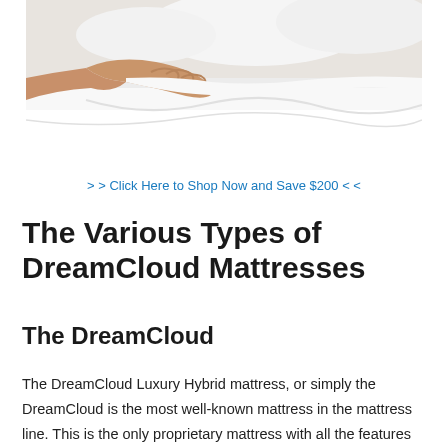[Figure (photo): A person's hand pressing down on a white mattress or pillow top, with white pillows visible in the background.]
> > Click Here to Shop Now and Save $200 < <
The Various Types of DreamCloud Mattresses
The DreamCloud
The DreamCloud Luxury Hybrid mattress, or simply the DreamCloud is the most well-known mattress in the mattress line. This is the only proprietary mattress with all the features mentioned